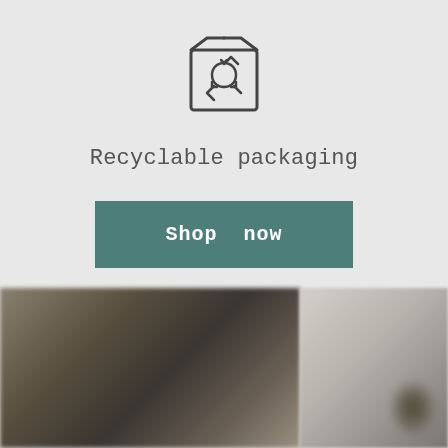[Figure (illustration): Recyclable packaging icon: a box outline with a recycling arrows symbol inside]
Recyclable packaging
Shop now
[Figure (photo): Two blurred product/lifestyle photos side by side at the bottom of the page. Left image shows dark textured fabric or material. Right image shows a light beige background with plant leaves.]